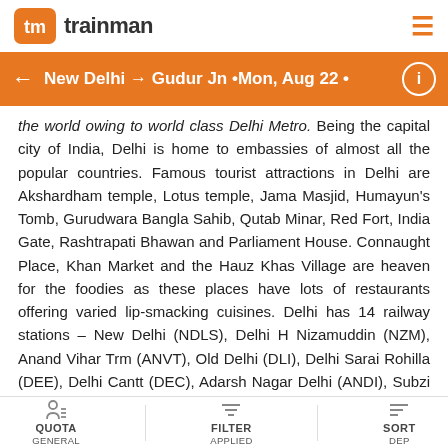trainman
New Delhi → Gudur Jn • Mon, Aug 22 •
the world owing to world class Delhi Metro. Being the capital city of India, Delhi is home to embassies of almost all the popular countries. Famous tourist attractions in Delhi are Akshardham temple, Lotus temple, Jama Masjid, Humayun's Tomb, Gurudwara Bangla Sahib, Qutab Minar, Red Fort, India Gate, Rashtrapati Bhawan and Parliament House. Connaught Place, Khan Market and the Hauz Khas Village are heaven for the foodies as these places have lots of restaurants offering varied lip-smacking cuisines. Delhi has 14 railway stations – New Delhi (NDLS), Delhi H Nizamuddin (NZM), Anand Vihar Trm (ANVT), Old Delhi (DLI), Delhi Sarai Rohilla (DEE), Delhi Cantt (DEC), Adarsh Nagar Delhi (ANDI), Subzi Mandi (SZM), Delhi Shahdara (DSA), Delhi Kishanganj (DKZ), Delhi Azadpur (AZ), Delhi S Bazar (DSB), Delhi Safdarjung (DSJ) and Delhi Mg (DE).
QUOTA GENERAL | FILTER APPLIED | SORT DEP